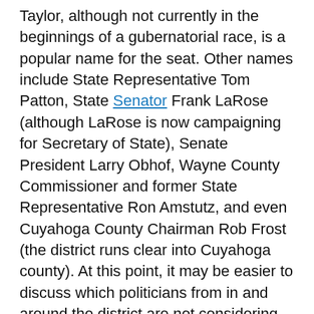Taylor, although not currently in the beginnings of a gubernatorial race, is a popular name for the seat. Other names include State Representative Tom Patton, State Senator Frank LaRose (although LaRose is now campaigning for Secretary of State), Senate President Larry Obhof, Wayne County Commissioner and former State Representative Ron Amstutz, and even Cuyahoga County Chairman Rob Frost (the district runs clear into Cuyahoga county). At this point, it may be easier to discuss which politicians from in and around the district are not considering running for the seat.
2018 will have several competitive races, for Republicans at least. At this moment the Democrats' shallow Ohio bench is embarrassingly apparent; no legitimate name has emerged as a contender for the 16th race. Beyond Northeast Ohio, the Democrats's bench for statewide offices is just as poor; the best that has been able to step up for the Democrats include a recently defeated